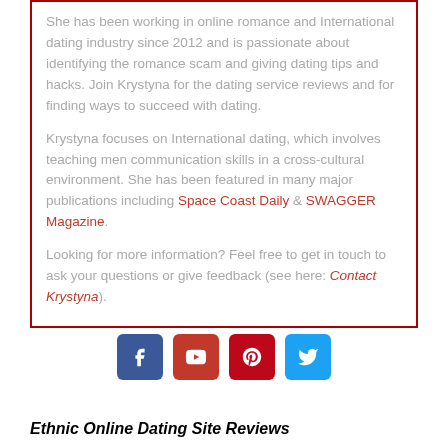She has been working in online romance and International dating industry since 2012 and is passionate about identifying the romance scam and giving dating tips and hacks. Join Krystyna for the dating service reviews and for finding ways to succeed with dating.
Krystyna focuses on International dating, which involves teaching men communication skills in a cross-cultural environment. She has been featured in many major publications including Space Coast Daily & SWAGGER Magazine.
Looking for more information? Feel free to get in touch to ask your questions or give feedback (see here: Contact Krystyna).
[Figure (infographic): Row of four social media icon buttons: Facebook (blue), YouTube (red), Pinterest (dark red), Twitter (light blue)]
Ethnic Online Dating Site Reviews